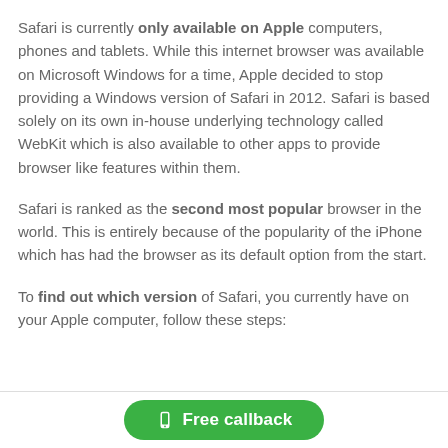Safari is currently only available on Apple computers, phones and tablets. While this internet browser was available on Microsoft Windows for a time, Apple decided to stop providing a Windows version of Safari in 2012. Safari is based solely on its own in-house underlying technology called WebKit which is also available to other apps to provide browser like features within them.
Safari is ranked as the second most popular browser in the world. This is entirely because of the popularity of the iPhone which has had the browser as its default option from the start.
To find out which version of Safari, you currently have on your Apple computer, follow these steps:
[Figure (other): Green rounded button with phone icon and text 'Free callback']